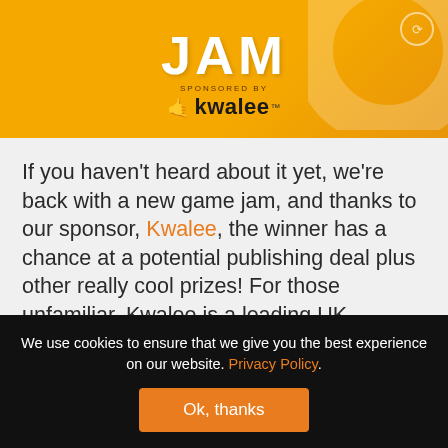[Figure (illustration): JAM game jam banner with orange/gold background, 'JAM' text in large white bold letters, 'sponsored by' text, and Kwalee logo with hand icon]
If you haven't heard about it yet, we're back with a new game jam, and thanks to our sponsor, Kwalee, the winner has a chance at a potential publishing deal plus other really cool prizes! For those unfamiliar, Kwalee is a leading UK publisher and developer of hyper casual mobile games founded by gaming industry icon David Darling. Some of their hit titles include Draw It, Shootout 3D, Off the Rails
We use cookies to ensure that we give you the best experience on our website. Privacy Policy.
Ok, thanks